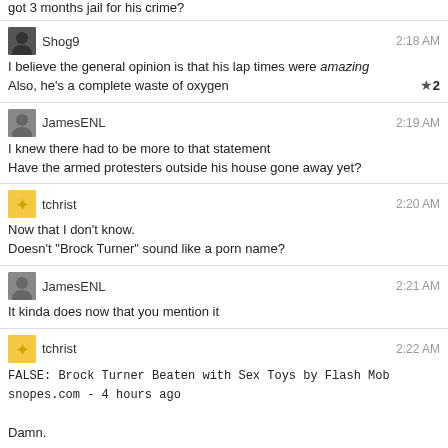got 3 months jail for his crime?
Shog9
2:18 AM
I believe the general opinion is that his lap times were amazing
Also, he's a complete waste of oxygen
★2
JamesENL
2:19 AM
I knew there had to be more to that statement
Have the armed protesters outside his house gone away yet?
tchrist
2:20 AM
Now that I don't know.
Doesn't "Brock Turner" sound like a porn name?
JamesENL
2:21 AM
It kinda does now that you mention it
tchrist
2:22 AM
FALSE: Brock Turner Beaten with Sex Toys by Flash Mob
snopes.com - 4 hours ago
Damn.
JamesENL
2:22 AM
Like a scene straight out of Saints Row 4
tchrist
2:23 AM
thegoodlordabove.com/...